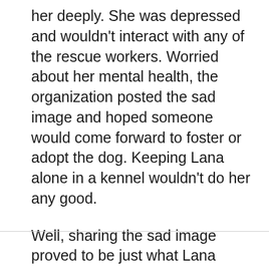her deeply. She was depressed and wouldn't interact with any of the rescue workers. Worried about her mental health, the organization posted the sad image and hoped someone would come forward to foster or adopt the dog. Keeping Lana alone in a kennel wouldn't do her any good.
Well, sharing the sad image proved to be just what Lana needed. The picture moved hundreds of people to inquire about the dog and soon after it was shared, the “saddest dog in the world” landed a new foster home. There, Lana has opened up to love and is smiling again (see images below).